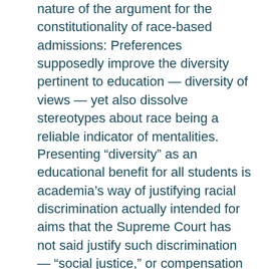nature of the argument for the constitutionality of race-based admissions: Preferences supposedly improve the diversity pertinent to education — diversity of views — yet also dissolve stereotypes about race being a reliable indicator of mentalities.
Presenting “diversity” as an educational benefit for all students is academia’s way of justifying racial discrimination actually intended for aims that the Supreme Court has not said justify such discrimination — “social justice,” or compensation for past injuries. As Harvard law professor Randall Kennedy, who supports affirmative action